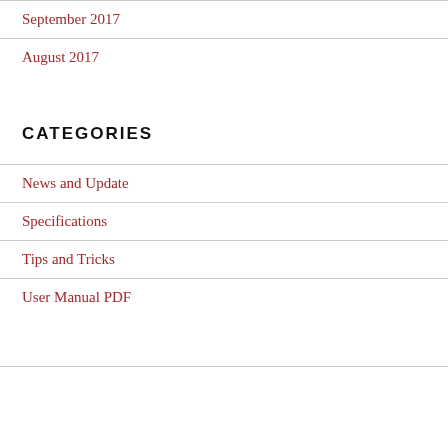September 2017
August 2017
CATEGORIES
News and Update
Specifications
Tips and Tricks
User Manual PDF